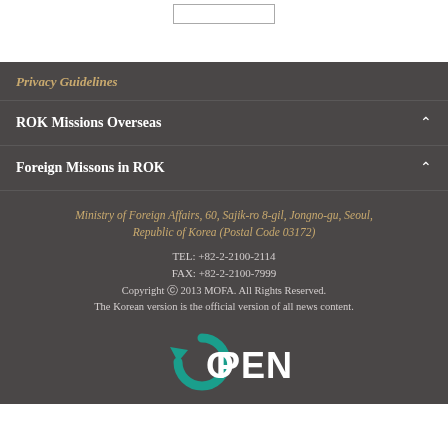Privacy Guidelines
ROK Missions Overseas
Foreign Missons in ROK
Ministry of Foreign Affairs, 60, Sajik-ro 8-gil, Jongno-gu, Seoul, Republic of Korea (Postal Code 03172)
TEL: +82-2-2100-2114
FAX: +82-2-2100-7999
Copyright ⓒ 2013 MOFA. All Rights Reserved.
The Korean version is the official version of all news content.
[Figure (logo): OPEN logo — circular arrow icon in teal with text OPEN in white]